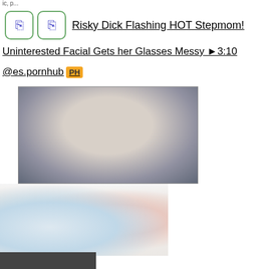Risky Dick Flashing HOT Stepmom!
Uninterested Facial Gets her Glasses Messy ▶3:10
@es.pornhub PH
[Figure (photo): Video thumbnail showing a person lying down]
[Figure (photo): Partially visible image below the main thumbnail]
[Figure (photo): Dark image at bottom of page]